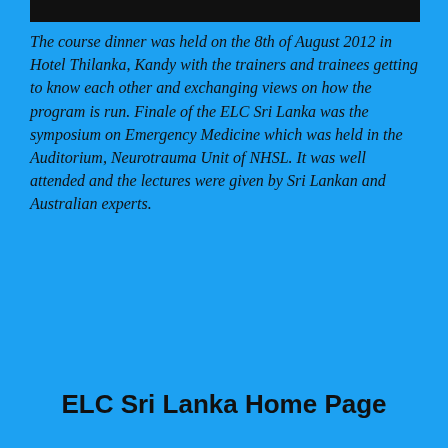[Figure (photo): Black horizontal bar at the top of the page (partial image remnant)]
The course dinner was held on the 8th of August 2012 in Hotel Thilanka, Kandy with the trainers and trainees getting to know each other and exchanging views on how the program is run. Finale of the ELC Sri Lanka was the symposium on Emergency Medicine which was held in the Auditorium, Neurotrauma Unit of NHSL. It was well attended and the lectures were given by Sri Lankan and Australian experts.
ELC Sri Lanka Home Page